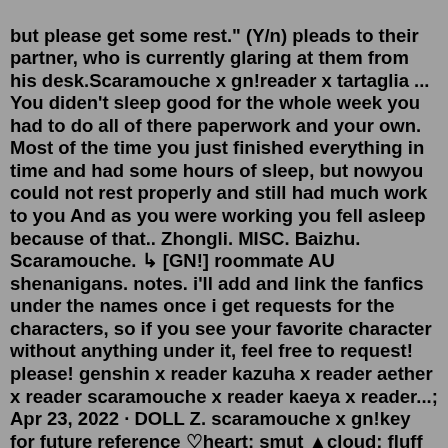but please get some rest." (Y/n) pleads to their partner, who is currently glaring at them from his desk.Scaramouche x gn!reader x tartaglia ... You diden't sleep good for the whole week you had to do all of there paperwork and your own. Most of the time you just finished everything in time and had some hours of sleep, but nowyou could not rest properly and still had much work to you And as you were working you fell asleep because of that.. Zhongli. MISC. Baizhu. Scaramouche. ↳ [GN!] roommate AU shenanigans. notes. i'll add and link the fanfics under the names once i get requests for the characters, so if you see your favorite character without anything under it, feel free to request! please! genshin x reader kazuha x reader aether x reader scaramouche x reader kaeya x reader...; Apr 23, 2022 · DOLL Z. scaramouche x gn!key for future reference ♡heart: smut ▲cloud: fluff five star: suggestive flower: comfort snowflake: angst four star: headcannon/scenario request rules prompt list updated... Aug 14, 2022 · Ghost! Ki ji. Scaramouche...